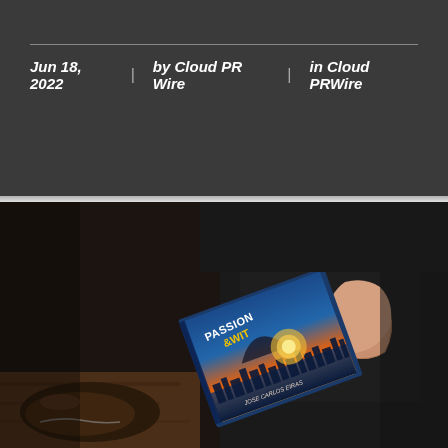Jun 18, 2022  |  by Cloud PR Wire  |  in Cloud PRWire
[Figure (photo): Person seated holding a book titled 'PASSION & WIT' by Jose Carlos Eiras, with a cityscape and sunset on the cover. Dark background with wooden floor visible.]